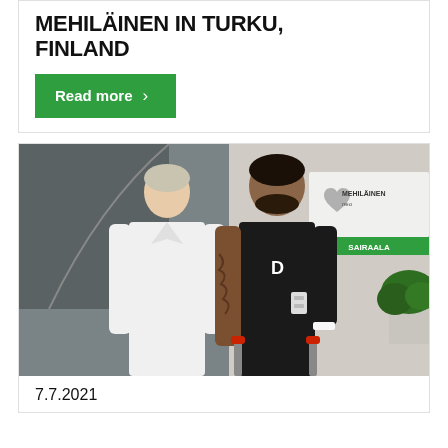MEHILÄINEN IN TURKU, FINLAND
Read more
[Figure (photo): Two men standing in front of a Mehiläinen Neo Sairaala (hospital) sign. One man is wearing a white medical coat and the other is wearing a black shirt with a 'D' logo, using crutches with red handles. The man in black has a tattooed arm.]
7.7.2021